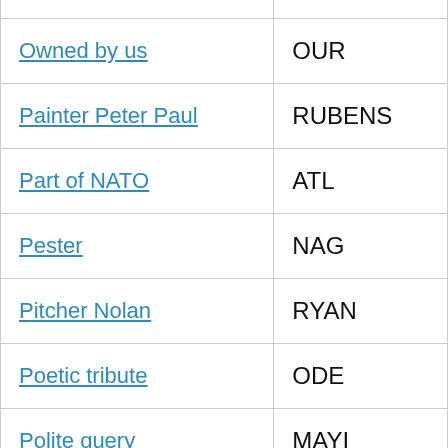| Clue | Answer |
| --- | --- |
| Owned by us | OUR |
| Painter Peter Paul | RUBENS |
| Part of NATO | ATL |
| Pester | NAG |
| Pitcher Nolan | RYAN |
| Poetic tribute | ODE |
| Polite query | MAYI |